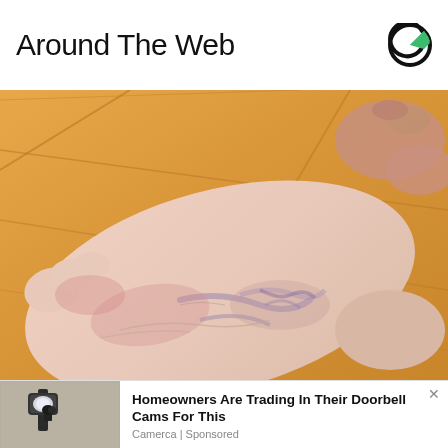Around The Web
[Figure (logo): Outbrain logo — circular icon with dark outer ring and green inner segment]
[Figure (photo): Close-up photograph of a human foot being held, showing the sole and ankle area with visible red and blue/purple discoloration or veining on pale skin, against a wooden floor background]
[Figure (photo): Thumbnail image of an outdoor wall-mounted security camera/light fixture on a stucco wall]
Homeowners Are Trading In Their Doorbell Cams For This
Camerca | Sponsored